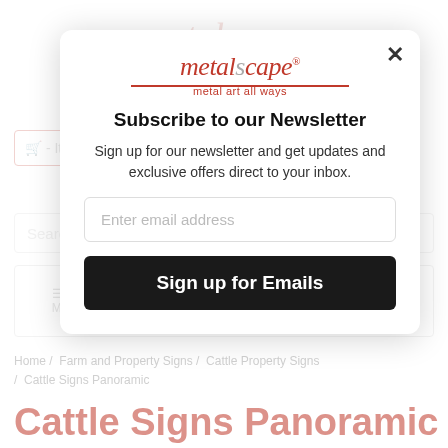[Figure (logo): Metalscape logo with text 'metalscape' in italic serif font and tagline 'metal art all ways' — shown faded in background]
Subscribe to our Newsletter
Sign up for our newsletter and get updates and exclusive offers direct to your inbox.
Enter email address
Sign up for Emails
Home / Farm and Property Signs / Cattle Property Signs / Cattle Signs Panoramic
Cattle Signs Panoramic